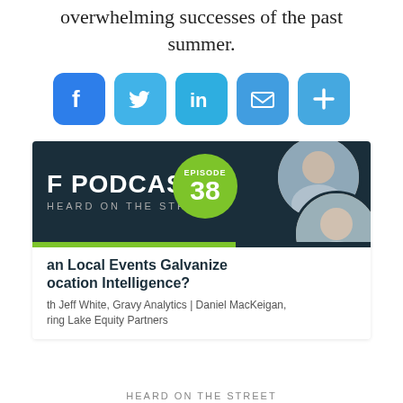overwhelming successes of the past summer.
[Figure (infographic): Social sharing buttons row: Facebook, Twitter, LinkedIn, Email, More (+)]
[Figure (infographic): Podcast card: F PODCAST HEARD ON THE STREET, Episode 38 bubble, two headshots. Title: an Local Events Galvanize ocation Intelligence? With Jeff White, Gravy Analytics | Daniel MacKeigan, ring Lake Equity Partners]
HEARD ON THE STREET